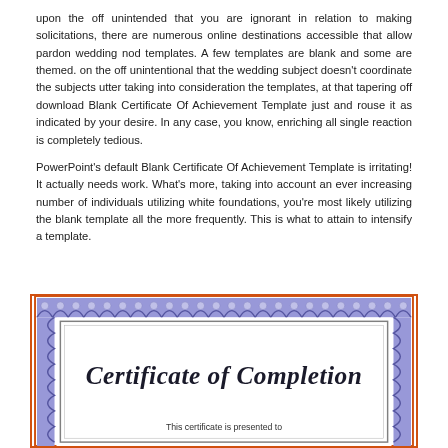upon the off unintended that you are ignorant in relation to making solicitations, there are numerous online destinations accessible that allow pardon wedding nod templates. A few templates are blank and some are themed. on the off unintentional that the wedding subject doesn't coordinate the subjects utter taking into consideration the templates, at that tapering off download Blank Certificate Of Achievement Template just and rouse it as indicated by your desire. In any case, you know, enriching all single reaction is completely tedious.
PowerPoint's default Blank Certificate Of Achievement Template is irritating! It actually needs work. What's more, taking into account an ever increasing number of individuals utilizing white foundations, you're most likely utilizing the blank template all the more frequently. This is what to attain to intensify a template.
[Figure (illustration): A certificate of completion template with decorative blue scalloped border, inner gray border, and title text 'Certificate of Completion' in gothic/blackletter style, with subtitle 'This certificate is presented to' at the bottom.]